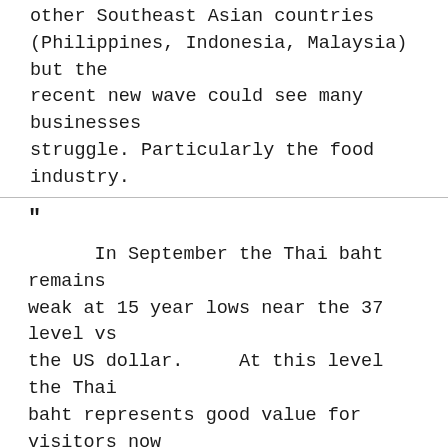other Southeast Asian countries (Philippines, Indonesia, Malaysia) but the recent new wave could see many businesses struggle. Particularly the food industry.
" In September the Thai baht remains weak at 15 year lows near the 37 level vs the US dollar.    At this level the Thai baht represents good value for visitors now that Thailand has eased border controls to benefit from a rebound in global travel.  Thailand announced 1 million tourists visited the country in July which shows the country is on track to returning to pre-Covid tourism levels.   THB Outlook